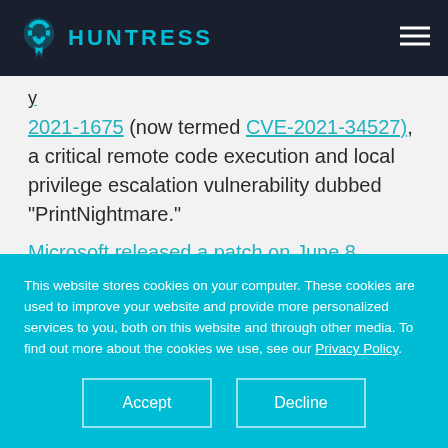HUNTRESS
2021-1675 (now termed CVE-2021-34527), a critical remote code execution and local privilege escalation vulnerability dubbed “PrintNightmare.”
Microsoft released a patch on June 8
This website stores cookies on your computer. These cookies are used to improve your website and provide more personalized services to you, both on this website and through other media. To find out more about the cookies we use, see our Privacy Policy.
Accept
Decline